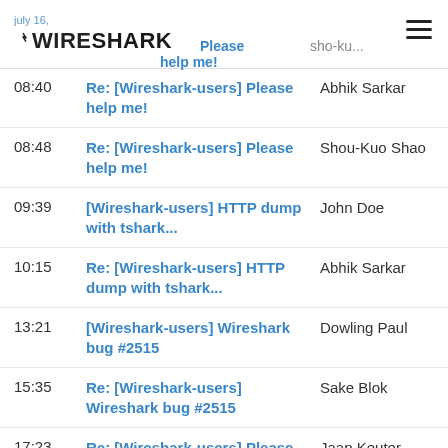July 16 — Wireshark
08:40 | Re: [Wireshark-users] Please help me! | Abhik Sarkar
08:48 | Re: [Wireshark-users] Please help me! | Shou-Kuo Shao
09:39 | [Wireshark-users] HTTP dump with tshark... | John Doe
10:15 | Re: [Wireshark-users] HTTP dump with tshark... | Abhik Sarkar
13:21 | [Wireshark-users] Wireshark bug #2515 | Dowling Paul
15:35 | Re: [Wireshark-users] Wireshark bug #2515 | Sake Blok
17:23 | Re: [Wireshark-users] Please help me! | Jaap Keuter
20:34 | [Wireshark-users] Wireshark... | Lawrence Teo